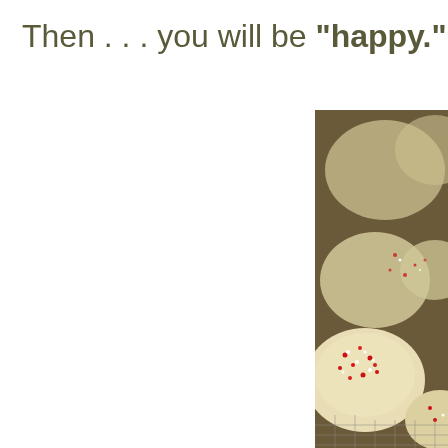Then . . . you will be "happy."
[Figure (photo): Close-up photo of round sugar cookies decorated with red and white sprinkles, sitting on a metal cooling rack. The cookies are pale golden with sparkly sugar and red sprinkles on top. The image is cropped at the left and bottom edges, showing the photo entering from the right side of the page.]